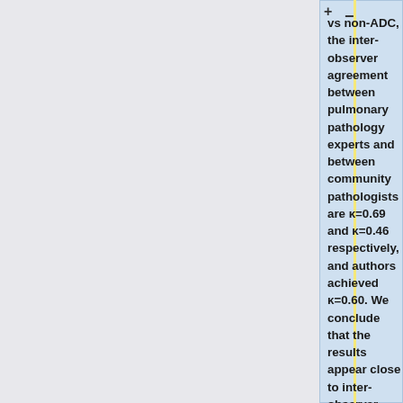vs non-ADC, the inter-observer agreement between pulmonary pathology experts and between community pathologists are κ=0.69 and κ=0.46 respectively, and authors achieved κ=0.60. We conclude that the results appear close to inter-observer agreement.